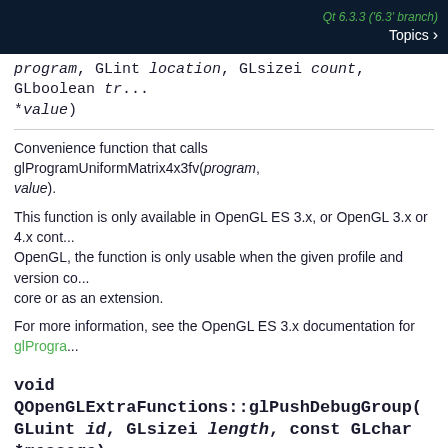Qt 6.3.3 ('6.3' branch)  Topics >
program, GLint location, GLsizei count, GLboolean tr... *value)
Convenience function that calls glProgramUniformMatrix4x3fv(program, value).
This function is only available in OpenGL ES 3.x, or OpenGL 3.x or 4.x cont... OpenGL, the function is only usable when the given profile and version co... core or as an extension.
For more information, see the OpenGL ES 3.x documentation for glProgra...
void QOpenGLExtraFunctions::glPushDebugGroup(... GLuint id, GLsizei length, const GLchar *message)
Convenience function that calls glPushDebugGroup(source, id, length, mes...
This function is only available in OpenGL ES 3.x, or OpenGL 3.x or 4.x cont... OpenGL, the function is only usable when the given profile and version co... core or as an extension.